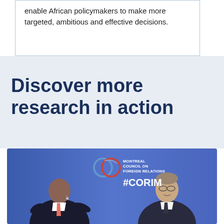enable African policymakers to make more targeted, ambitious and effective decisions.
Discover more research in action
[Figure (photo): Two men in suits seated on stage at a Montreal Council on Foreign Relations (CORIM) event, with a blue branded backdrop showing the CORIM logo and #CORIM hashtag. The man on the left is speaking with open hands, wearing a pink/salmon tie. The man on the right is smiling and wearing glasses.]